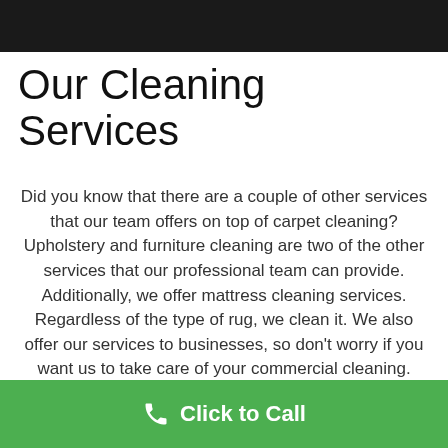Our Cleaning Services
Did you know that there are a couple of other services that our team offers on top of carpet cleaning? Upholstery and furniture cleaning are two of the other services that our professional team can provide. Additionally, we offer mattress cleaning services. Regardless of the type of rug, we clean it. We also offer our services to businesses, so don't worry if you want us to take care of your commercial cleaning.
Click to Call